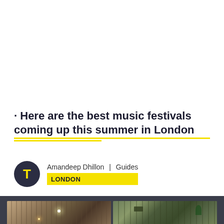· Here are the best music festivals coming up this summer in London
Amandeep Dhillon | Guides LONDON
[Figure (photo): Two interior venue photos side by side on a dark background: left shows a warm-lit industrial restaurant interior with exposed ceiling and pendant lights; right shows decorative shelving with plants and a TV screen.]